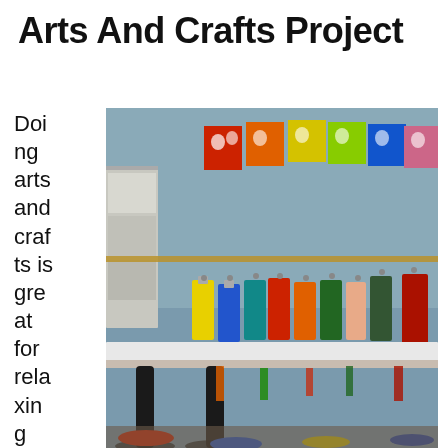Arts And Crafts Project
Doing arts and crafts is great for relaxing and can
[Figure (photo): A classroom arts and crafts room with colorful aprons hanging on hooks along a blue wall, colorful handprint artwork displayed above a rail, shelving units with supplies, and black-legged stools at a white-topped table in the foreground.]